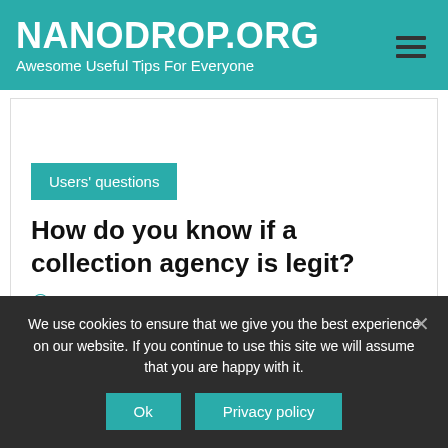NANODROP.ORG — Awesome Useful Tips For Everyone
Users' questions
How do you know if a collection agency is legit?
Posted on 02/03/2021
We use cookies to ensure that we give you the best experience on our website. If you continue to use this site we will assume that you are happy with it.